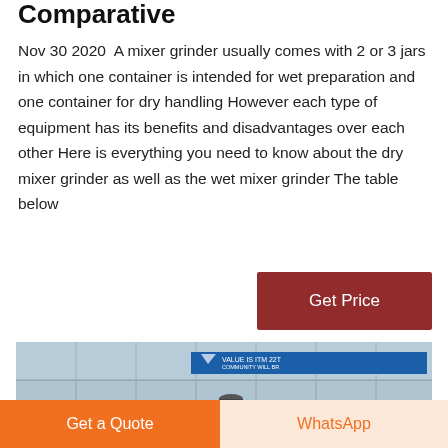Comparative
Nov 30 2020  A mixer grinder usually comes with 2 or 3 jars in which one container is intended for wet preparation and one container for dry handling However each type of equipment has its benefits and disadvantages over each other Here is everything you need to know about the dry mixer grinder as well as the wet mixer grinder The table below
[Figure (other): A red 'Get Price' button]
[Figure (photo): Photo of industrial/factory building exterior with blue banner and cylindrical equipment mounted on structure]
[Figure (other): Orange 'Get a Quote' button and light orange 'WhatsApp' button at the bottom of the page]